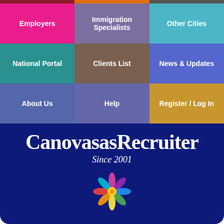[Figure (screenshot): Navigation grid with colored buttons: Employers (pink), Immigration Specialists (purple), Other Cities (teal), National Portal (teal), Clients List (brown), News & Updates (blue), About Us (blue-gray), Help (purple-gray), Register / Log In (gold)]
CanovarasRecruiter
Since 2001
[Figure (illustration): Colorful flower/star icon made of human figures in multiple colors]
the smart solution for Canovanas jobs
[Figure (infographic): Social share buttons: Facebook, Messenger, Twitter, LinkedIn, Email, Plus]